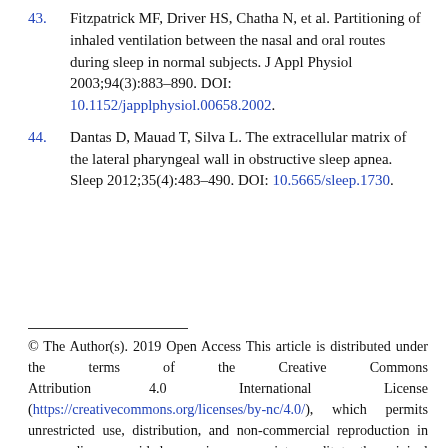43. Fitzpatrick MF, Driver HS, Chatha N, et al. Partitioning of inhaled ventilation between the nasal and oral routes during sleep in normal subjects. J Appl Physiol 2003;94(3):883–890. DOI: 10.1152/japplphysiol.00658.2002.
44. Dantas D, Mauad T, Silva L. The extracellular matrix of the lateral pharyngeal wall in obstructive sleep apnea. Sleep 2012;35(4):483–490. DOI: 10.5665/sleep.1730.
© The Author(s). 2019 Open Access This article is distributed under the terms of the Creative Commons Attribution 4.0 International License (https://creativecommons.org/licenses/by-nc/4.0/), which permits unrestricted use, distribution, and non-commercial reproduction in any medium, provided you give appropriate credit to the original author(s) and the source, provide a link to the Creative Commons